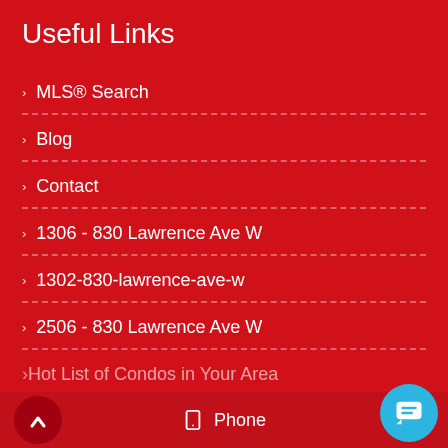Useful Links
MLS® Search
Blog
Contact
1306 - 830 Lawrence Ave W
1302-830-lawrence-ave-w
2506 - 830 Lawrence Ave W
Hot List of Condos in Your Area
Phone